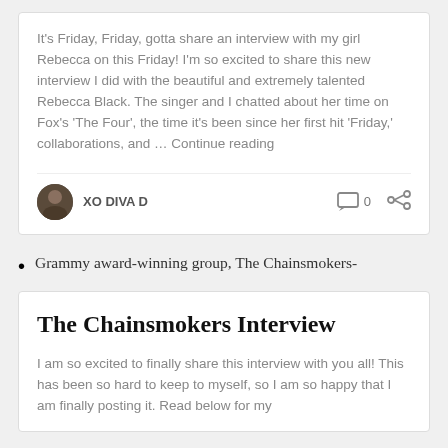It's Friday, Friday, gotta share an interview with my girl Rebecca on this Friday! I'm so excited to share this new interview I did with the beautiful and extremely talented Rebecca Black. The singer and I chatted about her time on Fox's 'The Four', the time it's been since her first hit 'Friday,' collaborations, and … Continue reading
XO DIVA D
Grammy award-winning group, The Chainsmokers-
The Chainsmokers Interview
I am so excited to finally share this interview with you all! This has been so hard to keep to myself, so I am so happy that I am finally posting it. Read below for my